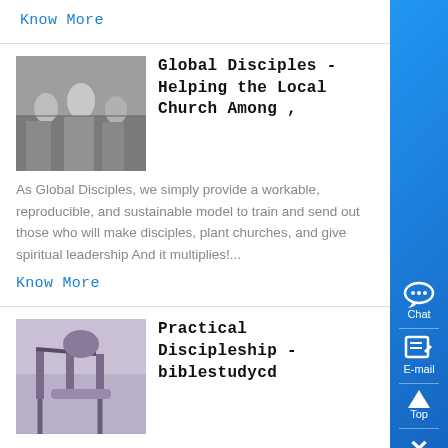Know More
Global Disciples - Helping the Local Church Among ,
As Global Disciples, we simply provide a workable, reproducible, and sustainable model to train and send out those who will make disciples, plant churches, and give spiritual leadership And it multiplies!...
Know More
[Figure (photo): Photograph showing people in church/meeting setting, black and white tones]
Practical Discipleship - biblestudycd
Practical Discipleship Discipleship involves Winning People to Christ
[Figure (photo): Photograph showing playground equipment or machinery outdoors]